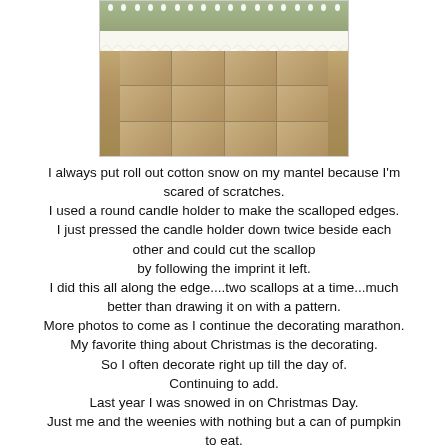[Figure (photo): Christmas mantel decorated with cotton snow scalloped edging, evergreen branches, lights, and hanging snowball ornaments over a tiled fireplace surround.]
I always put roll out cotton snow on my mantel because I'm scared of scratches.
I used a round candle holder to make the scalloped edges.
I just pressed the candle holder down twice beside each other and could cut the scallop
by following the imprint it left.
I did this all along the edge....two scallops at a time...much better than drawing it on with a pattern.
More photos to come as I continue the decorating marathon.
My favorite thing about Christmas is the decorating.
So I often decorate right up till the day of.
Continuing to add.
Last year I was snowed in on Christmas Day.
Just me and the weenies with nothing but a can of pumpkin to eat.
They had dog food but I shared my can of pumpkin.
All my neighbors had left town or gone to relatives the day